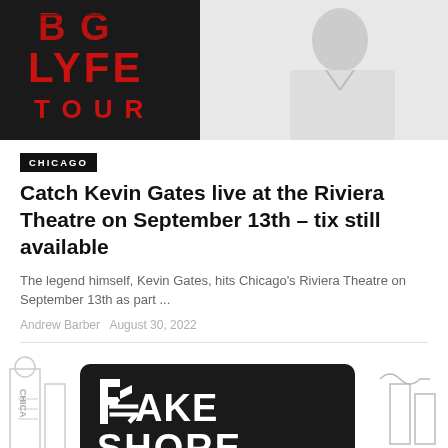[Figure (photo): Concert tour promotional image for 'Big Lyfe Tour' with red and black text and a figure of Kevin Gates on the right side]
CHICAGO
Catch Kevin Gates live at the Riviera Theatre on September 13th – tix still available
The legend himself, Kevin Gates, hits Chicago's Riviera Theatre on September 13th as part ...
Andrew Barber August 30, 2022
[Figure (illustration): Black and white illustrated logo/sign for 'Fake Shore Drive' styled as a street sign, with Chicago cityscape illustration in the background]